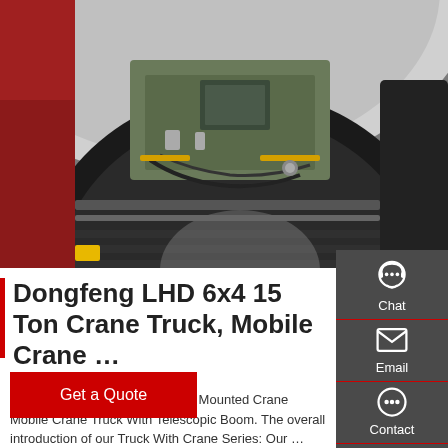[Figure (photo): Close-up photo of a crane truck undercarriage showing mechanical components, black tire tread and wheel well with red and grey bodywork visible]
Dongfeng LHD 6x4 15 Ton Crane Truck, Mobile Crane …
Dongfeng LHD 6x4 15Ton Truck Mounted Crane Mobile Crane Truck With Telescopic Boom. The overall introduction of our Truck With Crane Series: Our …
Get a Quote